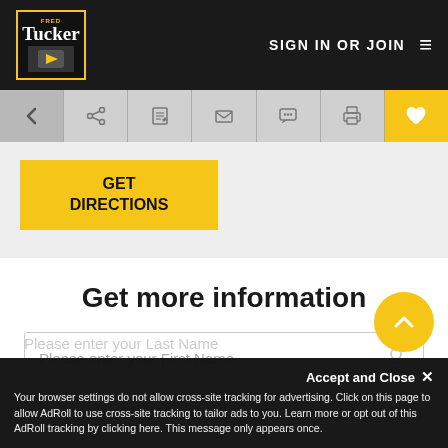SIGN IN OR JOIN
[Figure (screenshot): Navigation toolbar with back arrow, share, edit, email, chat, print, and heart (favorite) icons]
GET DIRECTIONS
Get more information
Please enter your First Name
Please enter your Last Name
Accept and Close ✕ Your browser settings do not allow cross-site tracking for advertising. Click on this page to allow AdRoll to use cross-site tracking to tailor ads to you. Learn more or opt out of this AdRoll tracking by clicking here. This message only appears once.